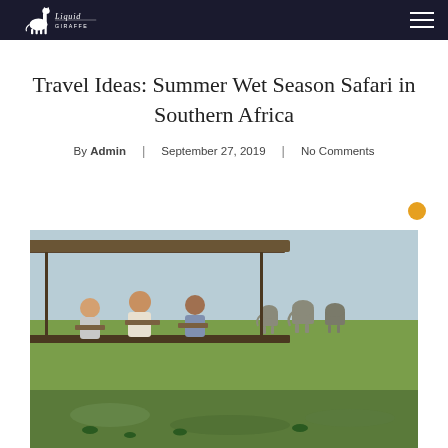Liquid Giraffe — navigation bar with logo and hamburger menu
Travel Ideas: Summer Wet Season Safari in Southern Africa
By Admin | September 27, 2019 | No Comments
[Figure (photo): People seated on a covered boat deck watching elephants grazing on a green floodplain in Southern Africa, with water lilies visible in the foreground]